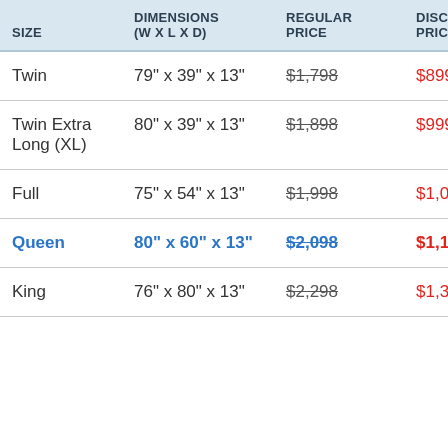| SIZE | DIMENSIONS (W x L x D) | REGULAR PRICE | DISCOUNTED PRICE |
| --- | --- | --- | --- |
| Twin | 79" x 39" x 13" | $1,798 | $899 |
| Twin Extra Long (XL) | 80" x 39" x 13" | $1,898 | $999 |
| Full | 75" x 54" x 13" | $1,998 | $1,099 |
| Queen | 80" x 60" x 13" | $2,098 | $1,199 |
| King | 76" x 80" x 13" | $2,298 | $1,399 |